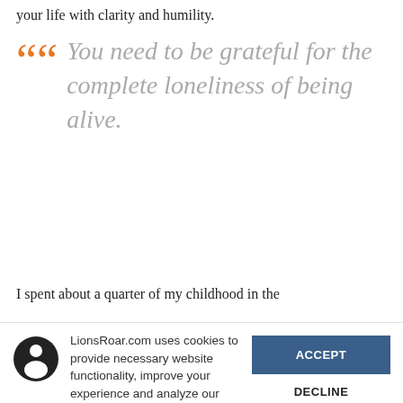your life with clarity and humility.
“You need to be grateful for the complete loneliness of being alive.
I spent about a quarter of my childhood in the
LionsRoar.com uses cookies to provide necessary website functionality, improve your experience and analyze our traffic. By using our website, you agree to our Privacy Policy and our cookies usage.